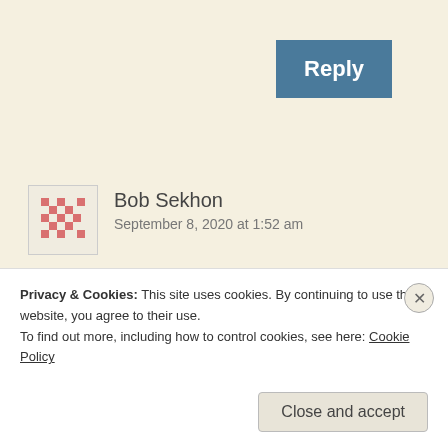[Figure (other): Reply button - teal/dark blue rectangular button with white text 'Reply']
Bob Sekhon
September 8, 2020 at 1:52 am
That’s so funny, that looks almost exactly how my family from St Vincent and the Grenadines
Privacy & Cookies: This site uses cookies. By continuing to use this website, you agree to their use.
To find out more, including how to control cookies, see here: Cookie Policy
Close and accept